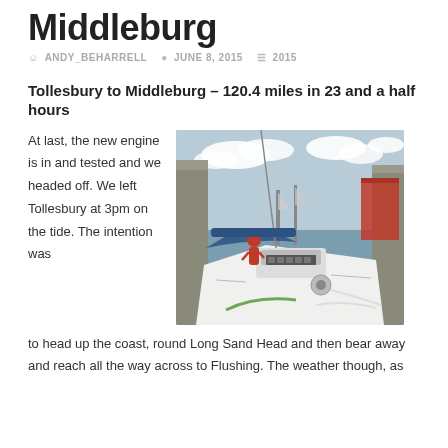Middleburg
ANDY_BEHARRELL   JUNE 8, 2015   2015
Tollesbury to Middleburg – 120.4 miles in 23 and a half hours
[Figure (photo): View from the deck of a sailing yacht in a harbour/lock, with other sailboats moored along a concrete wall, a figure in red on the foredeck, blue sail cover, cloudy sky.]
At last, the new engine is in and tested and we headed off. We left Tollesbury at 3pm on the tide. The intention was to head up the coast, round Long Sand Head and then bear away and reach all the way across to Flushing. The weather though, as